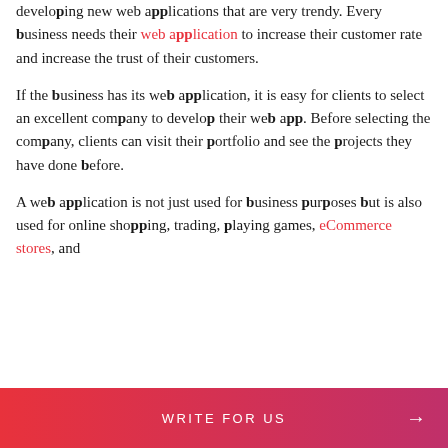developing new web applications that are very trendy. Every business needs their web application to increase their customer rate and increase the trust of their customers.
If the business has its web application, it is easy for clients to select an excellent company to develop their web app. Before selecting the company, clients can visit their portfolio and see the projects they have done before.
A web application is not just used for business purposes but is also used for online shopping, trading, playing games, eCommerce stores, and
WRITE FOR US →